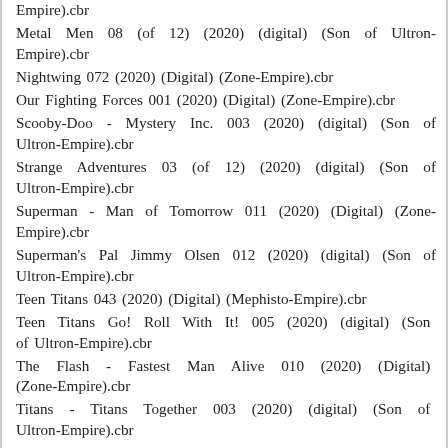Empire).cbr
Metal Men 08 (of 12) (2020) (digital) (Son of Ultron-Empire).cbr
Nightwing 072 (2020) (Digital) (Zone-Empire).cbr
Our Fighting Forces 001 (2020) (Digital) (Zone-Empire).cbr
Scooby-Doo - Mystery Inc. 003 (2020) (digital) (Son of Ultron-Empire).cbr
Strange Adventures 03 (of 12) (2020) (digital) (Son of Ultron-Empire).cbr
Superman - Man of Tomorrow 011 (2020) (Digital) (Zone-Empire).cbr
Superman's Pal Jimmy Olsen 012 (2020) (digital) (Son of Ultron-Empire).cbr
Teen Titans 043 (2020) (Digital) (Mephisto-Empire).cbr
Teen Titans Go! Roll With It! 005 (2020) (digital) (Son of Ultron-Empire).cbr
The Flash - Fastest Man Alive 010 (2020) (Digital) (Zone-Empire).cbr
Titans - Titans Together 003 (2020) (digital) (Son of Ultron-Empire).cbr